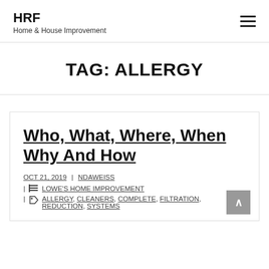HRF
Home & House Improvement
TAG: ALLERGY
Who, What, Where, When Why And How
OCT 21, 2019 | NDAWEISS
| LOWE'S HOME IMPROVEMENT
| ALLERGY, CLEANERS, COMPLETE, FILTRATION, REDUCTION, SYSTEMS